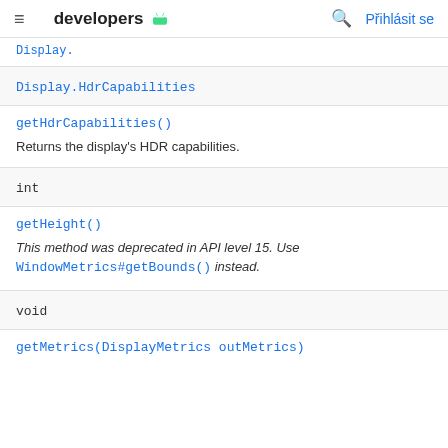developers | Přihlásit se
Display.HdrCapabilities
getHdrCapabilities()
Returns the display's HDR capabilities.
int
getHeight()
This method was deprecated in API level 15. Use WindowMetrics#getBounds() instead.
void
getMetrics(DisplayMetrics outMetrics)